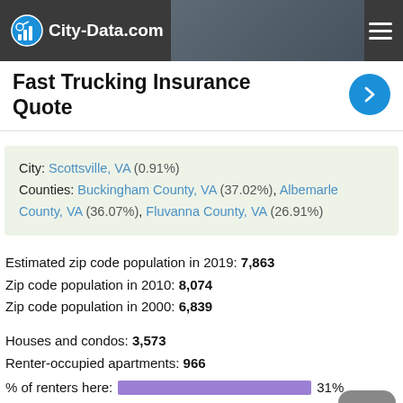City-Data.com
Fast Trucking Insurance Quote
City: Scottsville, VA (0.91%) Counties: Buckingham County, VA (37.02%), Albemarle County, VA (36.07%), Fluvanna County, VA (26.91%)
Estimated zip code population in 2019: 7,863
Zip code population in 2010: 8,074
Zip code population in 2000: 6,839
Houses and condos: 3,573
Renter-occupied apartments: 966
% of renters here: 31%
State: 34%